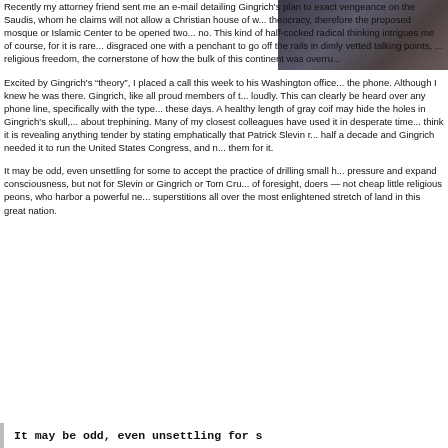[Figure (photo): Partial photo of a person in dark clothing, cropped at top right of page]
Recently my attorney friend sent me an e-mail detailing Gingrich’s plan to exact vengeance on the Saudis, whom he claims will not allow a Christian house of w... theocracy, therefore the proposed mosque or Islamic Center to be opened two... no. This kind of half-cocked radical thinking intrigues me of course, for it is rare... disgraced one with a penchant to go off the rails in dimly vetted talking points, ... religious freedom, the cornerstone of how the bulk of this continent was overru...
Excited by Gingrich’s “theory”, I placed a call this week to his Washington office... the phone. Although I knew he was there. Gingrich, like all proud members of t... loudly. This can clearly be heard over any phone line, specifically with the type... these days. A healthy length of gray coif may hide the holes in Gingrich’s skull,... about trephining. Many of my closest colleagues have used it in desperate time... think it is revealing anything tender by stating emphatically that Patrick Slevin r... half a decade and Gingrich needed it to run the United States Congress, and n... them for it.
It may be odd, even unsettling for some to accept the practice of drilling small h... pressure and expand consciousness, but not for Slevin or Gingrich or Tom Cru... of foresight, doers — not cheap little religious peons, who harbor a powerful ne... superstitions all over the most enlightened stretch of land in this great nation.
It may be odd, even unsettling for s